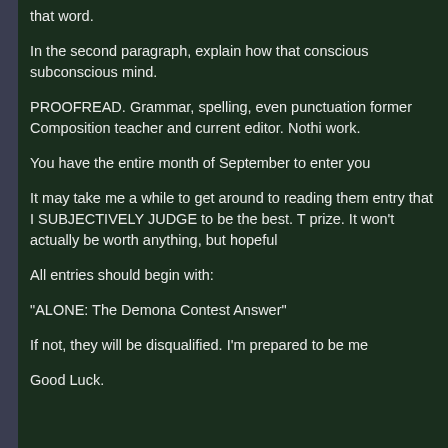that word.
In the second paragraph, explain how that conscious subconscious mind.
PROOFREAD. Grammar, spelling, even punctuation former Composition teacher and current editor. Nothi work.
You have the entire month of September to enter you
It may take me a while to get around to reading them entry that I SUBJECTIVELY JUDGE to be the best. T prize. It won't actually be worth anything, but hopeful
All entries should begin with:
"ALONE: The Demona Contest Answer"
If not, they will be disqualified. I'm prepared to be me
Good Luck.
Question rece
Yoshkada writes